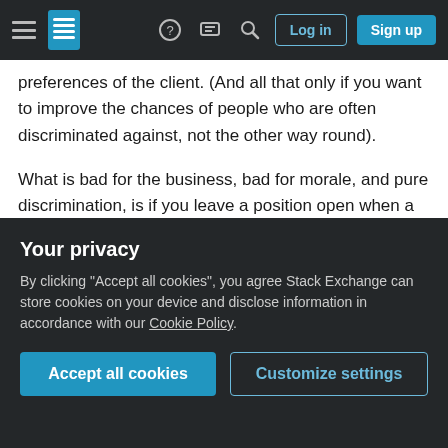Navigation bar with hamburger menu, Stack Exchange logo, help icon, chat icon, search icon, Log in button, Sign up button
preferences of the client. (And all that only if you want to improve the chances of people who are often discriminated against, not the other way round).
What is bad for the business, bad for morale, and pure discrimination, is if you leave a position open when a qualified candidate doesn't meet the client's preferences.
Share   answered Jul 26, 2020 at 21:24
Your privacy
By clicking "Accept all cookies", you agree Stack Exchange can store cookies on your device and disclose information in accordance with our Cookie Policy.
Accept all cookies
Customize settings